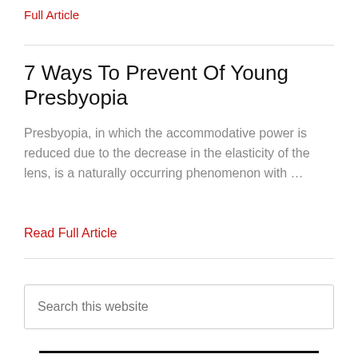Full Article
7 Ways To Prevent Of Young Presbyopia
Presbyopia, in which the accommodative power is reduced due to the decrease in the elasticity of the lens, is a naturally occurring phenomenon with …
Read Full Article
Search this website